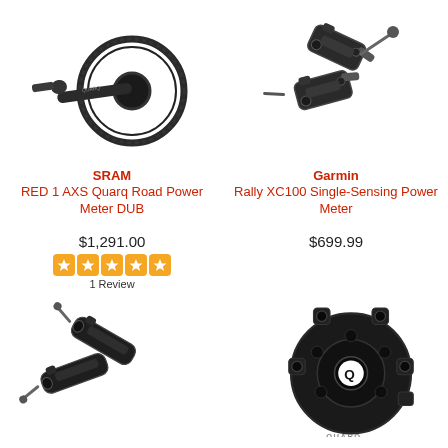[Figure (photo): SRAM RED 1 AXS Quarq Road Power Meter DUB crankset with chainring, black]
[Figure (photo): Garmin Rally XC100 Single-Sensing Power Meter pedals, black, shown as pair separated]
SRAM
RED 1 AXS Quarq Road Power Meter DUB
Garmin
Rally XC100 Single-Sensing Power Meter
$1,291.00
[Figure (other): 5 orange star rating boxes]
1 Review
$699.99
[Figure (photo): Two road cycling power meter pedals, black, shown separated at an angle]
[Figure (photo): Close-up of Quarq power meter spider/crank spider, black, showing the Q logo]